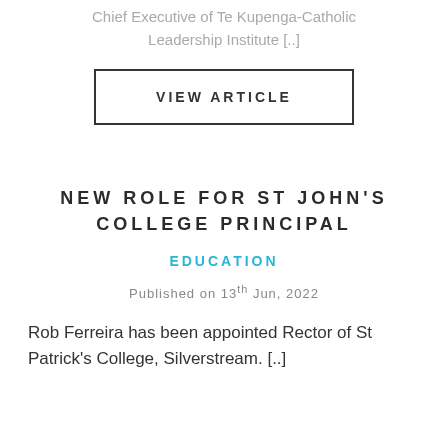Chief Executive of Te Kupenga-Catholic Leadership Institute [..]
VIEW ARTICLE
NEW ROLE FOR ST JOHN'S COLLEGE PRINCIPAL
EDUCATION
Published on 13th Jun, 2022
Rob Ferreira has been appointed Rector of St Patrick's College, Silverstream. [..]